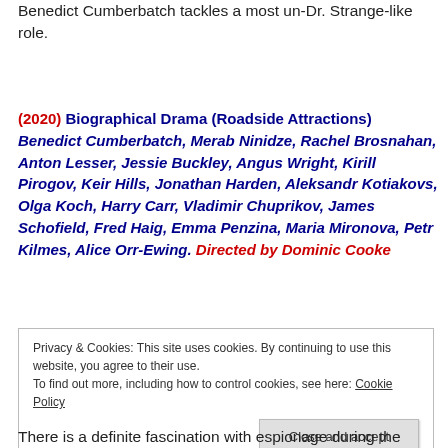Benedict Cumberbatch tackles a most un-Dr. Strange-like role.
(2020) Biographical Drama (Roadside Attractions) Benedict Cumberbatch, Merab Ninidze, Rachel Brosnahan, Anton Lesser, Jessie Buckley, Angus Wright, Kirill Pirogov, Keir Hills, Jonathan Harden, Aleksandr Kotiakovs, Olga Koch, Harry Carr, Vladimir Chuprikov, James Schofield, Fred Haig, Emma Penzina, Maria Mironova, Petr Kilmes, Alice Orr-Ewing. Directed by Dominic Cooke
Privacy & Cookies: This site uses cookies. By continuing to use this website, you agree to their use. To find out more, including how to control cookies, see here: Cookie Policy
There is a definite fascination with espionage during the